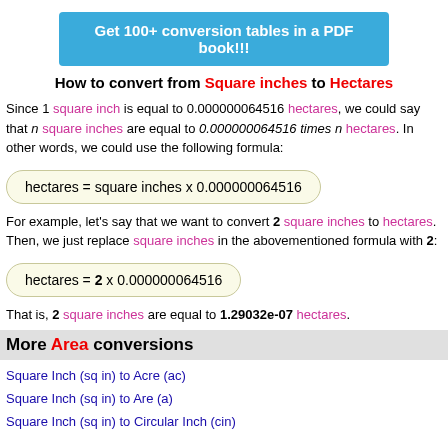Get 100+ conversion tables in a PDF book!!!
How to convert from Square inches to Hectares
Since 1 square inch is equal to 0.000000064516 hectares, we could say that n square inches are equal to 0.000000064516 times n hectares. In other words, we could use the following formula:
For example, let's say that we want to convert 2 square inches to hectares. Then, we just replace square inches in the abovementioned formula with 2:
That is, 2 square inches are equal to 1.29032e-07 hectares.
More Area conversions
Square Inch (sq in) to Acre (ac)
Square Inch (sq in) to Are (a)
Square Inch (sq in) to Circular Inch (cin)